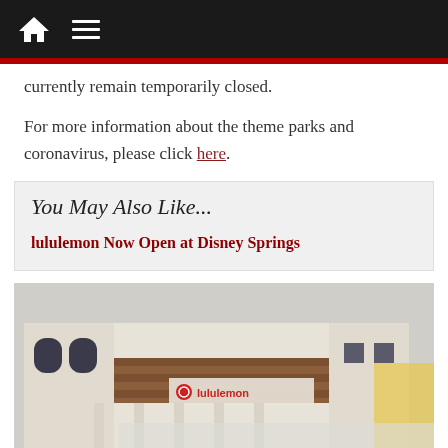Navigation bar with home and menu icons
currently remain temporarily closed.
For more information about the theme parks and coronavirus, please click here.
You May Also Like...
lululemon Now Open at Disney Springs
[Figure (photo): Exterior photo of lululemon store building at Disney Springs, a white Mediterranean-style building with brown tile roof, columns, and lululemon signage visible on the facade]